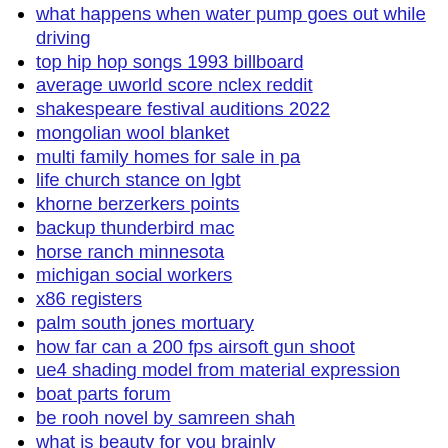what happens when water pump goes out while driving
top hip hop songs 1993 billboard
average uworld score nclex reddit
shakespeare festival auditions 2022
mongolian wool blanket
multi family homes for sale in pa
life church stance on lgbt
khorne berzerkers points
backup thunderbird mac
horse ranch minnesota
michigan social workers
x86 registers
palm south jones mortuary
how far can a 200 fps airsoft gun shoot
ue4 shading model from material expression
boat parts forum
be rooh novel by samreen shah
what is beauty for you brainly
honeywell thermostat wiring diagram 3 wire
korn ferry numerical test answers pdf
second date questions for guys
what is the admin password for swann
how to answer when are we getting married
houses for sale with granny flat lancashire
tractors for sale on craigslist in ct